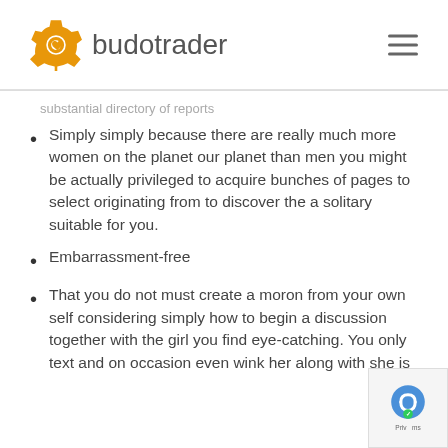[Figure (logo): Budotrader logo: orange gear icon followed by the text 'budotrader' in gray]
substantial directory of reports
Simply simply because there are really much more women on the planet our planet than men you might be actually privileged to acquire bunches of pages to select originating from to discover the a solitary suitable for you.
Embarrassment-free
That you do not must create a moron from your own self considering simply how to begin a discussion together with the girl you find eye-catching. You only text and on occasion even wink her along with she is